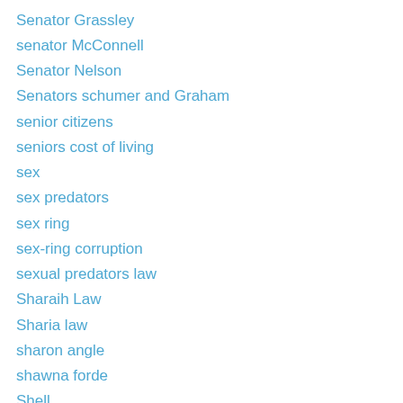Senator Grassley
senator McConnell
Senator Nelson
Senators schumer and Graham
senior citizens
seniors cost of living
sex
sex predators
sex ring
sex-ring corruption
sexual predators law
Sharaih Law
Sharia law
sharon angle
shawna forde
Shell
sheriff
sheriff arpaio
Sheriff Babeu
sheriff debate